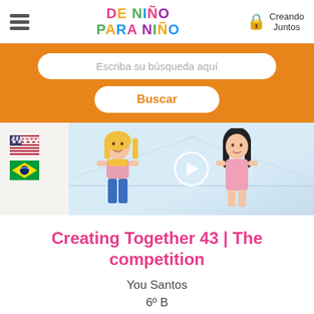DE NIÑO PARA NIÑO | Creando Juntos
[Figure (screenshot): Search bar on orange background with input field 'Escriba su búsqueda aquí' and Buscar button]
[Figure (illustration): Children's hand-drawn illustration showing two cartoon girls, one blonde in pink top and blue jeans, one with black hair in pink dress, with a video play button overlay. US and Brazil flag icons on the left side.]
Creating Together 43 | The competition
You Santos
6º B